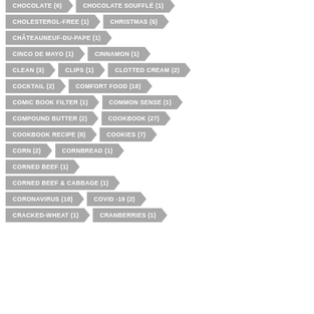CHOCOLATE (6)
CHOCOLATE SOUFFLÉ (1)
CHOLESTEROL-FREE (1)
CHRISTMAS (5)
CHÂTEAUNEUF-DU-PAPE (1)
CINCO DE MAYO (1)
CINNAMON (1)
CLEAN (3)
CLIPS (1)
CLOTTED CREAM (2)
COCKTAIL (2)
COMFORT FOOD (18)
COMIC BOOK FILTER (1)
COMMON SENSE (1)
COMPOUND BUTTER (2)
COOKBOOK (27)
COOKBOOK RECIPE (8)
COOKIES (7)
CORN (2)
CORNBREAD (1)
CORNED BEEF (1)
CORNED BEEF & CABBAGE (1)
CORONAVIRUS (18)
COVID -19 (2)
CRACKED-WHEAT (1)
CRANBERRIES (1)